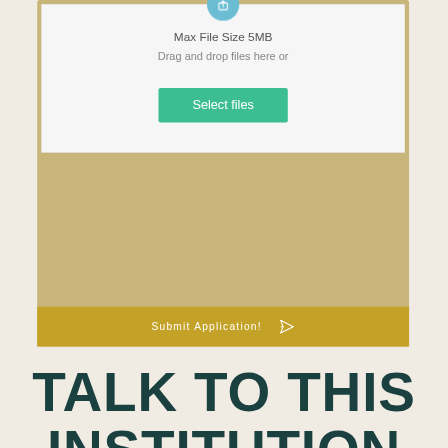[Figure (screenshot): File upload widget showing an upload icon circle at top, 'Max File Size 5MB' text, 'Drag and drop files here or' text, and a green 'Select files' button, all within a light gray card. Below the card is a gold/olive colored 'Submit Application!' button bar with a paper plane send icon.]
TALK TO THIS INSTITUTION